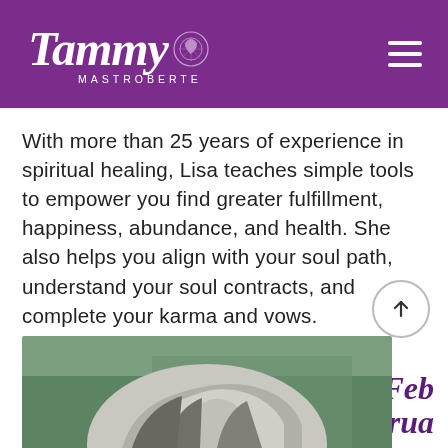[Figure (logo): Tammy Mastroberte logo in white script with a purple heart/mandala icon, on a purple background header bar with a hamburger menu icon on the right]
With more than 25 years of experience in spiritual healing, Lisa teaches simple tools to empower you find greater fulfillment, happiness, abundance, and health. She also helps you align with your soul path, understand your soul contracts, and complete your karma and vows.
[Figure (photo): Partial photo of a woman with silver-streaked hair against a green background, cropped at bottom of page]